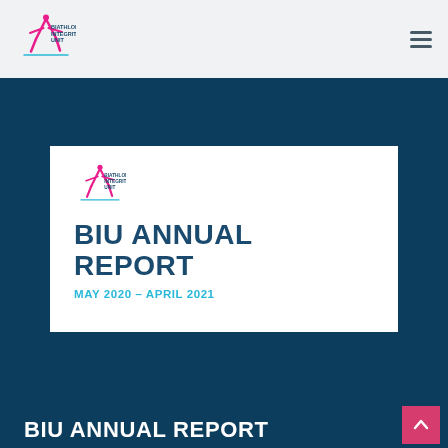Biathlon Integrity Unit — navigation bar with logo and hamburger menu
[Figure (logo): BIU Annual Report cover image showing the Biathlon Integrity Unit logo and the text 'BIU ANNUAL REPORT MAY 2020 – APRIL 2021' on a white card over a dark teal background]
BIU ANNUAL REPORT